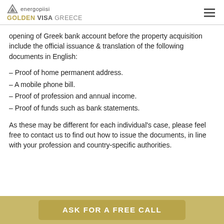energopiisi GOLDEN VISA GREECE
opening of Greek bank account before the property acquisition include the official issuance & translation of the following documents in English:
- Proof of home permanent address.
- A mobile phone bill.
- Proof of profession and annual income.
- Proof of funds such as bank statements.
As these may be different for each individual's case, please feel free to contact us to find out how to issue the documents, in line with your profession and country-specific authorities.
ASK FOR A FREE CALL